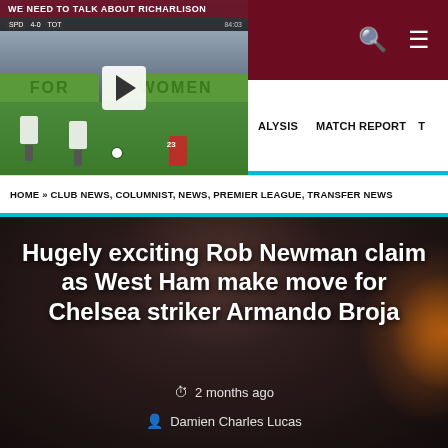We Need To Talk About Richarlison
[Figure (screenshot): Video thumbnail of a soccer/football match with players on a green pitch, a play button overlay, and text 'FOR' and 'WOMEN' visible on advertising boards]
ANALYSIS   MATCH REPORT   T
HOME » CLUB NEWS, COLUMNIST, NEWS, PREMIER LEAGUE, TRANSFER NEWS
[Figure (photo): Dark photo of a young man (Armando Broja) against a dark background with orange/flame colors on the right side]
Hugely exciting Rob Newman claim as West Ham make move for Chelsea striker Armando Broja
2 months ago
Damien Charles Lucas